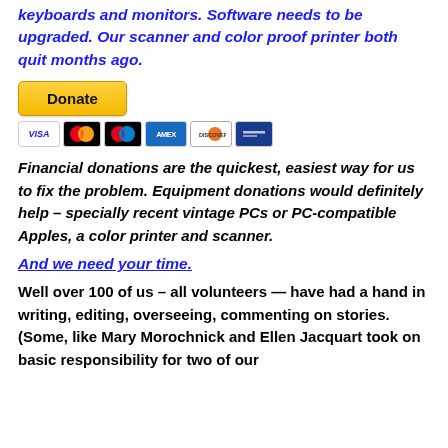keyboards and monitors. Software needs to be upgraded. Our scanner and color proof printer both quit months ago.
[Figure (other): PayPal Donate button with credit card icons (Visa, Mastercard, Maestro, Amex, Discover, and another card)]
Financial donations are the quickest, easiest way for us to fix the problem. Equipment donations would definitely help – specially recent vintage PCs or PC-compatible Apples,  a color printer and scanner.
And we need your time.
Well over 100 of us – all volunteers —  have had a hand in writing, editing, overseeing, commenting on stories.  (Some, like Mary Morochnick and Ellen Jacquart took on basic responsibility for two of our